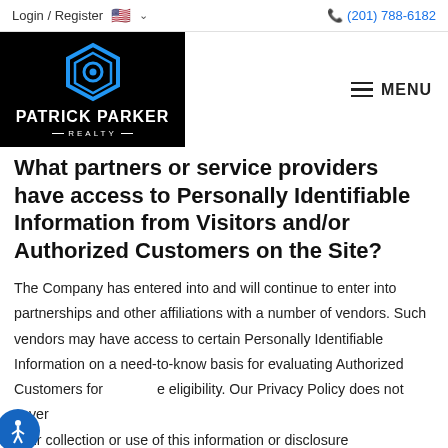Login / Register   🇺🇸 ∨        ☎ (201) 788-6182
[Figure (logo): Patrick Parker Realty logo — black background with blue hexagonal icon and white text]
What partners or service providers have access to Personally Identifiable Information from Visitors and/or Authorized Customers on the Site?
The Company has entered into and will continue to enter into partnerships and other affiliations with a number of vendors. Such vendors may have access to certain Personally Identifiable Information on a need-to-know basis for evaluating Authorized Customers for the eligibility. Our Privacy Policy does not cover their collection or use of this information or disclosure